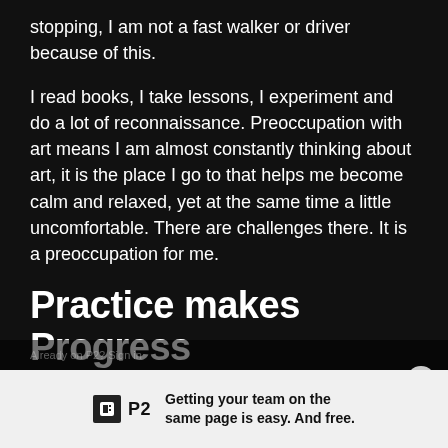stopping, I am not a fast walker or driver because of this.
I read books, I take lessons, I experiment and do a lot of reconnaissance. Preoccupation with art means I am almost constantly thinking about art, it is the place I go to that helps me become calm and relaxed, yet at the same time a little uncomfortable. There are challenges there. It is a preoccupation for me.
Practice makes Progress
Practice is very important because it helps to train your hand and eye coordination. You practice how to “see” things as an artist and become better. I have a
Getting your team on the same page is easy. And free.